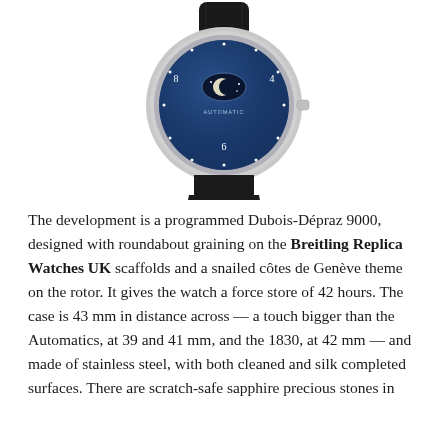[Figure (photo): A luxury wristwatch with a blue dial showing moon phase complication, Arabic numerals, silver case, and black leather alligator-pattern strap, photographed from above on a white background.]
The development is a programmed Dubois-Dépraz 9000, designed with roundabout graining on the Breitling Replica Watches UK scaffolds and a snailed côtes de Genève theme on the rotor. It gives the watch a force store of 42 hours. The case is 43 mm in distance across — a touch bigger than the Automatics, at 39 and 41 mm, and the 1830, at 42 mm — and made of stainless steel, with both cleaned and silk completed surfaces. There are scratch-safe sapphire precious stones in